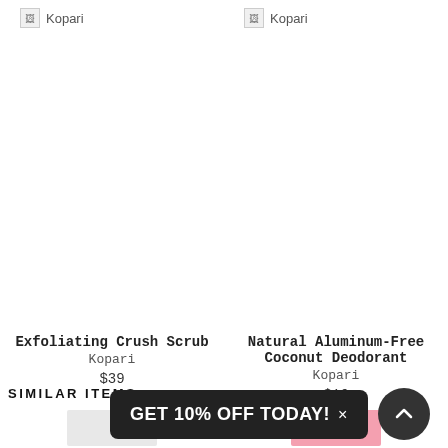[Figure (photo): Broken image placeholder for Kopari product (left card)]
Kopari
[Figure (photo): Broken image placeholder for Kopari product (right card)]
Kopari
Exfoliating Crush Scrub
Kopari
$39
Natural Aluminum-Free Coconut Deodorant
Kopari
$16
GET 10% OFF TODAY! ×
SIMILAR ITEMS
[Figure (photo): Bottom left product thumbnail - white/grey product]
[Figure (photo): Bottom right product thumbnail - pink product]